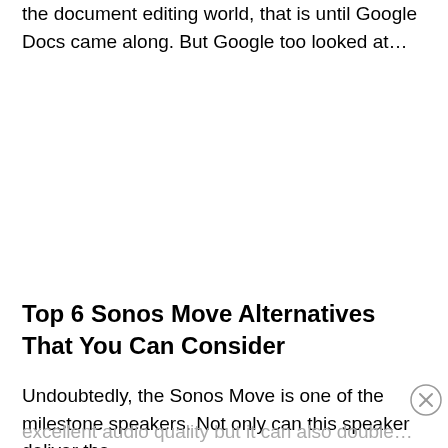the document editing world, that is until Google Docs came along. But Google too looked at…
Top 6 Sonos Move Alternatives That You Can Consider
Undoubtedly, the Sonos Move is one of the milestone speakers. Not only can this speaker deliver the
excellent audio quality but it can also double…